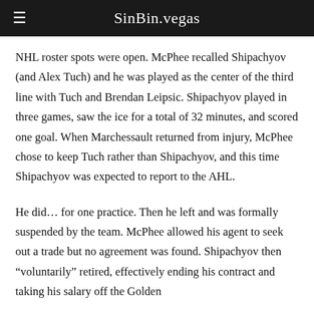SinBin.vegas
NHL roster spots were open. McPhee recalled Shipachyov (and Alex Tuch) and he was played as the center of the third line with Tuch and Brendan Leipsic. Shipachyov played in three games, saw the ice for a total of 32 minutes, and scored one goal. When Marchessault returned from injury, McPhee chose to keep Tuch rather than Shipachyov, and this time Shipachyov was expected to report to the AHL.
He did… for one practice. Then he left and was formally suspended by the team. McPhee allowed his agent to seek out a trade but no agreement was found. Shipachyov then “voluntarily” retired, effectively ending his contract and taking his salary off the Golden